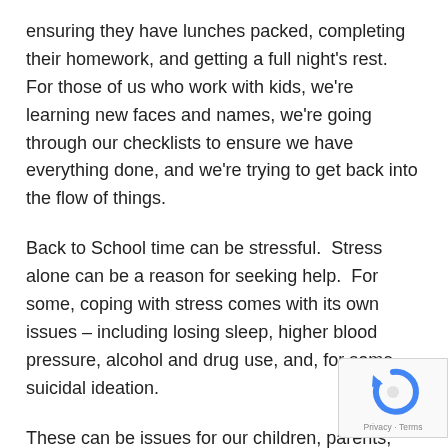ensuring they have lunches packed, completing their homework, and getting a full night's rest.  For those of us who work with kids, we're learning new faces and names, we're going through our checklists to ensure we have everything done, and we're trying to get back into the flow of things.
Back to School time can be stressful.  Stress alone can be a reason for seeking help.  For some, coping with stress comes with its own issues – including losing sleep, higher blood pressure, alcohol and drug use, and, for some, suicidal ideation.
These can be issues for our children, parents, grandparents, and school staff.
[Figure (logo): reCAPTCHA badge with spinning arrow logo and Privacy · Terms text]